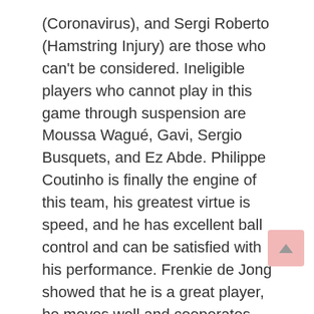(Coronavirus), and Sergi Roberto (Hamstring Injury) are those who can't be considered. Ineligible players who cannot play in this game through suspension are Moussa Wagué, Gavi, Sergio Busquets, and Ez Abde. Philippe Coutinho is finally the engine of this team, his greatest virtue is speed, and he has excellent ball control and can be satisfied with his performance. Frenkie de Jong showed that he is a great player, he moves well and cooperates with the attackers, all praise for him.
Conclusion
Barcelona is the favorite in this match, and they have not lost to Mallorca for five games in a row. We expect the visitors to pick up all